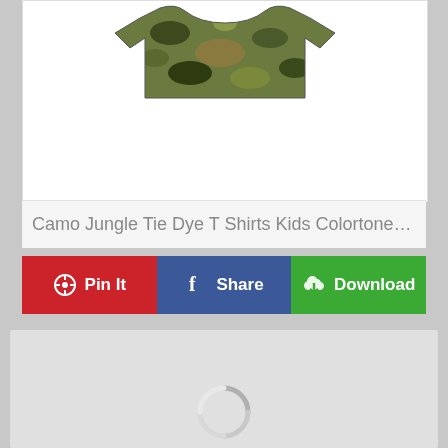[Figure (photo): Camo jungle tie dye t-shirt product image on white background]
Camo Jungle Tie Dye T Shirts Kids Colortone Zandy's …
[Figure (infographic): Three action buttons: Pin It (red), Share (blue), Download (green)]
[Figure (other): Loading placeholder area with spinner icon, light gray background]